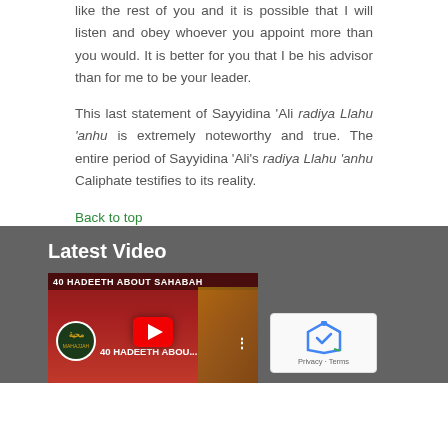like the rest of you and it is possible that I will listen and obey whoever you appoint more than you would. It is better for you that I be his advisor than for me to be your leader.
This last statement of Sayyidina 'Ali radiya Llahu 'anhu is extremely noteworthy and true. The entire period of Sayyidina 'Ali's radiya Llahu 'anhu Caliphate testifies to its reality.
Back to top
Latest Video
[Figure (screenshot): YouTube video thumbnail showing '40 HADEETH ABOUT SAHABAH' with Mahajjah logo and play button]
[Figure (other): reCAPTCHA widget with Privacy and Terms text]